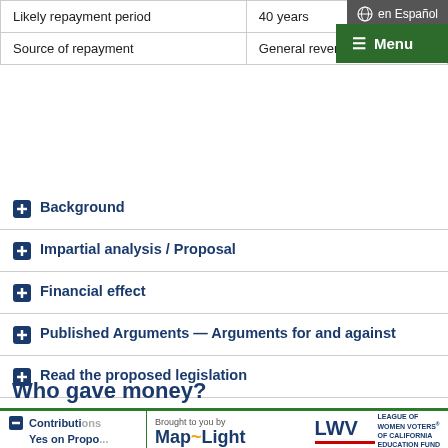|  |  |
| --- | --- |
| Likely repayment period | 40 years |
| Source of repayment | General revenues |
Background
Impartial analysis / Proposal
Financial effect
Published Arguments — Arguments for and against
Read the proposed legislation
Who gave money?
Contributions | Yes on Propo... | Total
Brought to you by MapLight | League of Women Voters of California Education Fund